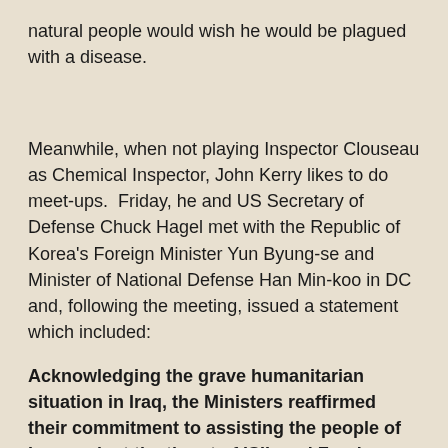natural people would wish he would be plagued with a disease.
Meanwhile, when not playing Inspector Clouseau as Chemical Inspector, John Kerry likes to do meet-ups.  Friday, he and US Secretary of Defense Chuck Hagel met with the Republic of Korea's Foreign Minister Yun Byung-se and Minister of National Defense Han Min-koo in DC and, following the meeting, issued a statement which included:
Acknowledging the grave humanitarian situation in Iraq, the Ministers reaffirmed their commitment to assisting the people of Iraq against the threat of ISIL and Foreign Terrorist Fighters. The United States thanked the ROK for its recent commitment of an additional $4 million in humanitarian